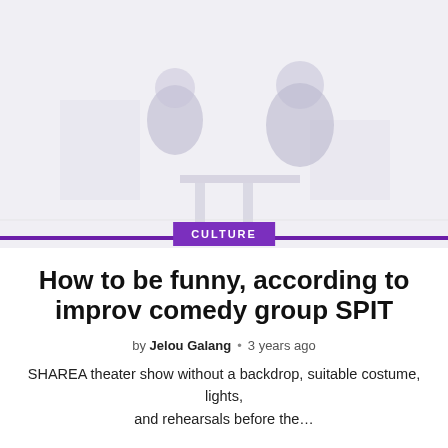[Figure (photo): Faded/washed-out photo of two silhouetted figures sitting across from each other at a table in a bright, minimalist room]
CULTURE
How to be funny, according to improv comedy group SPIT
by Jelou Galang • 3 years ago
SHAREA theater show without a backdrop, suitable costume, lights, and rehearsals before the...